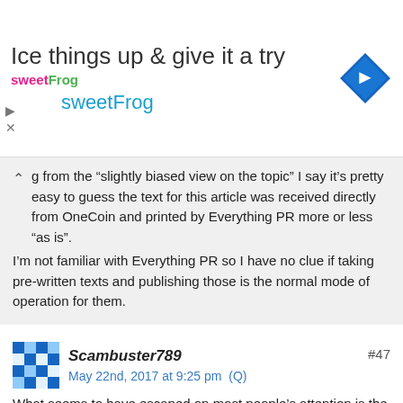[Figure (other): sweetFrog advertisement banner with logo, tagline 'Ice things up & give it a try', brand name 'sweetFrog', and a blue diamond direction sign icon]
g from the “slightly biased view on the topic” I say it’s pretty easy to guess the text for this article was received directly from OneCoin and printed by Everything PR more or less “as is”.

I’m not familiar with Everything PR so I have no clue if taking pre-written texts and publishing those is the normal mode of operation for them.
Scambuster789
May 22nd, 2017 at 9:25 pm  (Q)

What seems to have escaped on most people’s attention is the fact that OneCoin stated some time back that no Coins could be traded anymore before the 2018 IPO.

We also heard that cash withdrawals were and still are a problem. When not limited they just don’t pass technical